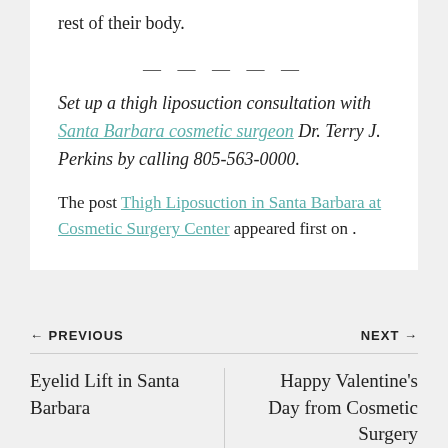rest of their body.
— — — — —
Set up a thigh liposuction consultation with Santa Barbara cosmetic surgeon Dr. Terry J. Perkins by calling 805-563-0000.
The post Thigh Liposuction in Santa Barbara at Cosmetic Surgery Center appeared first on .
← PREVIOUS
NEXT →
Eyelid Lift in Santa Barbara
Happy Valentine's Day from Cosmetic Surgery